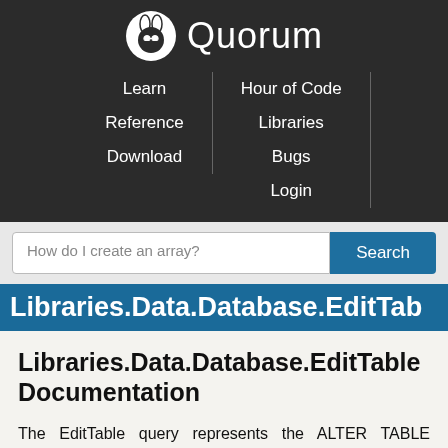Quorum — Learn | Reference | Download | Hour of Code | Libraries | Bugs | Login
How do I create an array? [Search]
Libraries.Data.Database.EditTab
Libraries.Data.Database.EditTable Documentation
The EditTable query represents the ALTER TABLE command of the SQL (Structured Query Language) language. This query allows for table manipulations by adding, dropping, or modify columns.